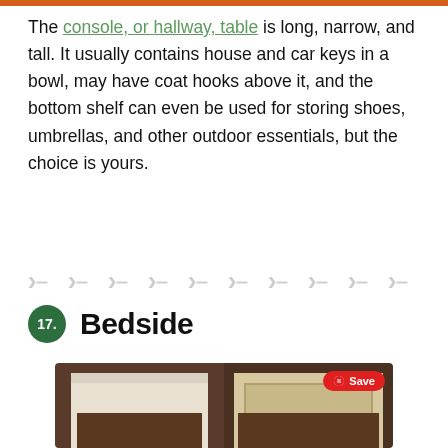The console, or hallway, table is long, narrow, and tall. It usually contains house and car keys in a bowl, may have coat hooks above it, and the bottom shelf can even be used for storing shoes, umbrellas, and other outdoor essentials, but the choice is yours.
17. Bedside
[Figure (photo): Two side-by-side photos of a wooden bedside table with white/grey painted frame, shown from different angles against a dark wood background. A red Pinterest Save badge appears on the right photo.]